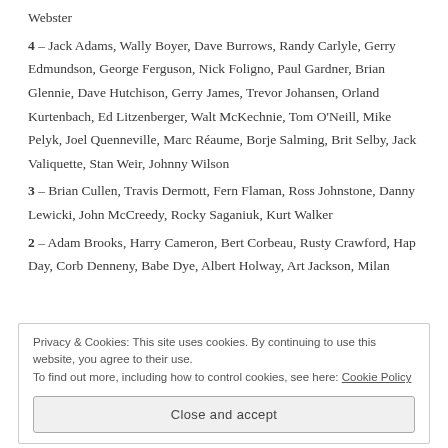Webster
4 – Jack Adams, Wally Boyer, Dave Burrows, Randy Carlyle, Gerry Edmundson, George Ferguson, Nick Foligno, Paul Gardner, Brian Glennie, Dave Hutchison, Gerry James, Trevor Johansen, Orland Kurtenbach, Ed Litzenberger, Walt McKechnie, Tom O'Neill, Mike Pelyk, Joel Quenneville, Marc Réaume, Borje Salming, Brit Selby, Jack Valiquette, Stan Weir, Johnny Wilson
3 – Brian Cullen, Travis Dermott, Fern Flaman, Ross Johnstone, Danny Lewicki, John McCreedy, Rocky Saganiuk, Kurt Walker
2 – Adam Brooks, Harry Cameron, Bert Corbeau, Rusty Crawford, Hap Day, Corb Denneny, Babe Dye, Albert Holway, Art Jackson, Milan
Privacy & Cookies: This site uses cookies. By continuing to use this website, you agree to their use.
To find out more, including how to control cookies, see here: Cookie Policy
Close and accept